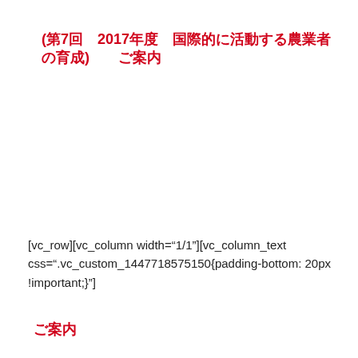(第7回　2017年度　国際的に活動する農業者の育成) 　 ご案内
[vc_row][vc_column width="1/1"][vc_column_text css=".vc_custom_1447718575150{padding-bottom: 20px !important;}"]
ご案内